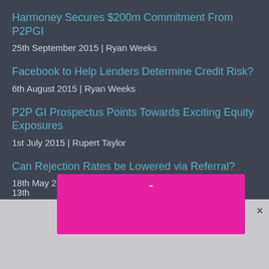Harmoney Secures $200m Commitment From P2PGI
25th September 2015 | Ryan Weeks
Facebook to Help Lenders Determine Credit Risk?
6th August 2015 | Ryan Weeks
P2P GI Prospectus Points Towards Exciting Equity Exposures
1st July 2015 | Rupert Taylor
Can Rejection Rates be Lowered via Referral?
18th May 2015 | Ryan Weeks
More Fund Managers Buy Into P2P
13th